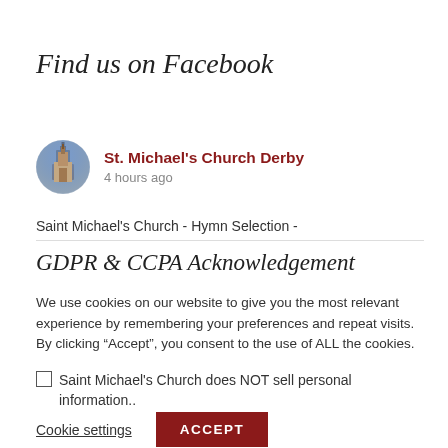Find us on Facebook
[Figure (screenshot): Facebook post card showing St. Michael's Church Derby profile picture (circular photo of a church tower) with name 'St. Michael's Church Derby' in dark red bold text and '4 hours ago' in grey below]
Saint Michael's Church - Hymn Selection -
GDPR & CCPA Acknowledgement
We use cookies on our website to give you the most relevant experience by remembering your preferences and repeat visits. By clicking "Accept", you consent to the use of ALL the cookies.
☐ Saint Michael's Church does NOT sell personal information..
Cookie settings  ACCEPT